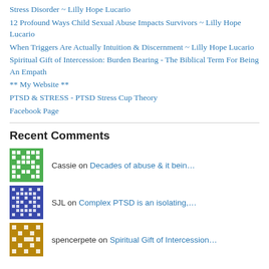Stress Disorder ~ Lilly Hope Lucario
12 Profound Ways Child Sexual Abuse Impacts Survivors ~ Lilly Hope Lucario
When Triggers Are Actually Intuition & Discernment ~ Lilly Hope Lucario
Spiritual Gift of Intercession: Burden Bearing - The Biblical Term For Being An Empath
** My Website **
PTSD & STRESS - PTSD Stress Cup Theory
Facebook Page
Recent Comments
Cassie on Decades of abuse & it bein…
SJL on Complex PTSD is an isolating,…
spencerpete on Spiritual Gift of Intercession…